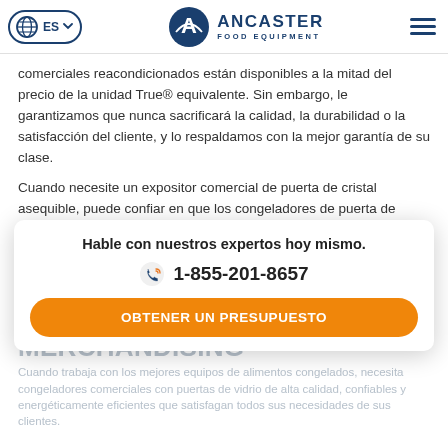ES | ANCASTER FOOD EQUIPMENT
comerciales reacondicionados están disponibles a la mitad del precio de la unidad True® equivalente. Sin embargo, le garantizamos que nunca sacrificará la calidad, la durabilidad o la satisfacción del cliente, y lo respaldamos con la mejor garantía de su clase.
Cuando necesite un expositor comercial de puerta de cristal asequible, puede confiar en que los congeladores de puerta de cristal de Ancaster se adapten a sus necesidades y a su presupuesto.
CONGELADORES CON
PUERTAS DE CRISTAL PARA
MERCHANDISING
Cuando trabaja con los mejores equipos de alimentos congelados, necesita congeladores comerciales con puertas de vidrio de alta calidad, confiables y energéticamente eficientes que satisfagan todos sus necesidades de sus clientes.
Hable con nuestros expertos hoy mismo.
1-855-201-8657
OBTENER UN PRESUPUESTO